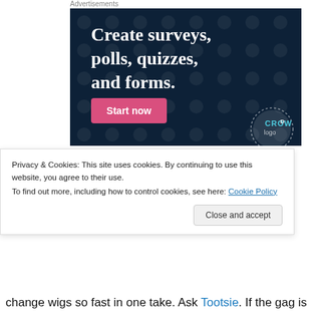Advertisements
[Figure (screenshot): Advertisement banner with dark navy background and dotted pattern showing text 'Create surveys, polls, quizzes, and forms.' with a pink 'Start now' button and Crowdo logo in bottom right corner.]
Privacy & Cookies: This site uses cookies. By continuing to use this website, you agree to their use.
To find out more, including how to control cookies, see here: Cookie Policy
change wigs so fast in one take. Ask Tootsie. If the gag is